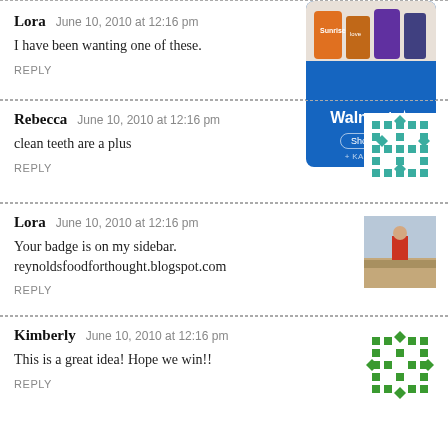Lora  June 10, 2010 at 12:16 pm
I have been wanting one of these.
REPLY
[Figure (other): Walmart advertisement with product images and Shop now button]
Rebecca  June 10, 2010 at 12:16 pm
clean teeth are a plus
REPLY
[Figure (illustration): Teal geometric pattern avatar for Rebecca]
Lora  June 10, 2010 at 12:16 pm
Your badge is on my sidebar.
reynoldsfoodforthought.blogspot.com
REPLY
[Figure (photo): Photo of person in red outdoors, Lora avatar]
Kimberly  June 10, 2010 at 12:16 pm
This is a great idea! Hope we win!!
REPLY
[Figure (illustration): Green geometric pattern avatar for Kimberly]